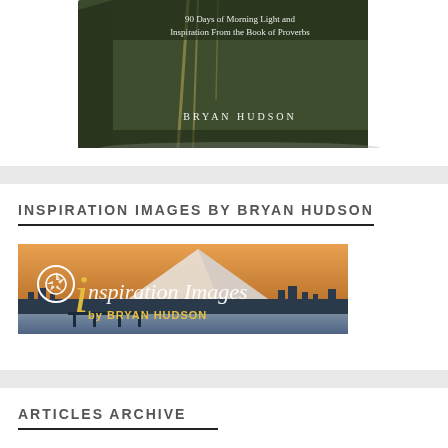[Figure (photo): Book cover showing '90 Days of Morning Light and Inspiration From the Book of Proverbs' by Bryan Hudson, with a nature/forest background scene.]
INSPIRATION IMAGES BY BRYAN HUDSON
[Figure (logo): Inspiration Images by Bryan Hudson banner logo with stylized italic text and camera shutter icon on a mountain/waterfront background at sunset.]
ARTICLES ARCHIVE
2022 ( 67 )